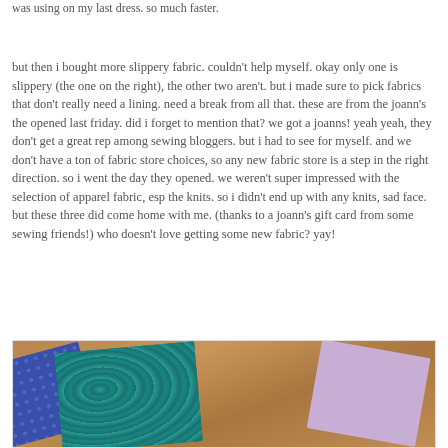was using on my last dress. so much faster.
but then i bought more slippery fabric. couldn't help myself. okay only one is slippery (the one on the right), the other two aren't. but i made sure to pick fabrics that don't really need a lining. need a break from all that. these are from the joann's the opened last friday. did i forget to mention that? we got a joanns! yeah yeah, they don't get a great rep among sewing bloggers. but i had to see for myself. and we don't have a ton of fabric store choices, so any new fabric store is a step in the right direction. so i went the day they opened. we weren't super impressed with the selection of apparel fabric, esp the knits. so i didn't end up with any knits, sad face. but these three did come home with me. (thanks to a joann's gift card from some sewing friends!) who doesn't love getting some new fabric? yay!
[Figure (photo): Photo of three fabric pieces laid on a wooden floor: a blue fabric with white dots on the left, a teal/green paisley patterned fabric in the center, and a light purple/lavender paisley fabric on the right.]